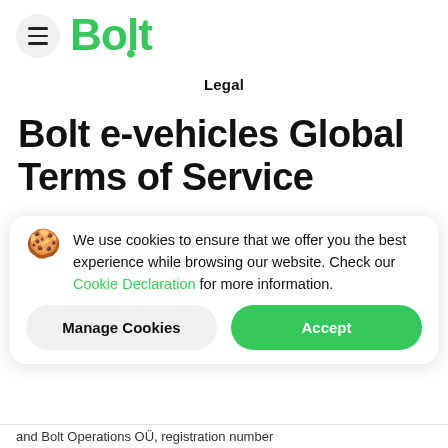[Figure (logo): Bolt logo with hamburger menu button on the left and green Bolt wordmark on the right]
Legal
Bolt e-vehicles Global Terms of Service
We use cookies to ensure that we offer you the best experience while browsing our website. Check our Cookie Declaration for more information.
and Bolt Operations OÜ, registration number